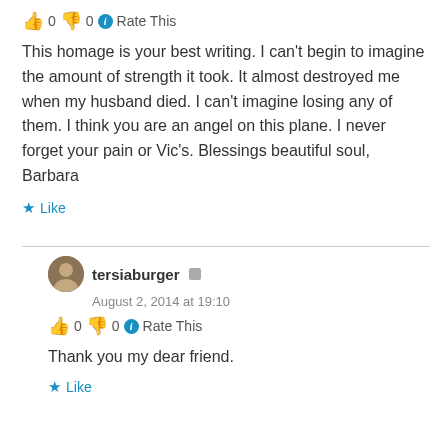👍 0 👎 0 ℹ Rate This
This homage is your best writing. I can't begin to imagine the amount of strength it took. It almost destroyed me when my husband died. I can't imagine losing any of them. I think you are an angel on this plane. I never forget your pain or Vic's. Blessings beautiful soul, Barbara
★ Like
tersiaburger
August 2, 2014 at 19:10
👍 0 👎 0 ℹ Rate This
Thank you my dear friend.
★ Like